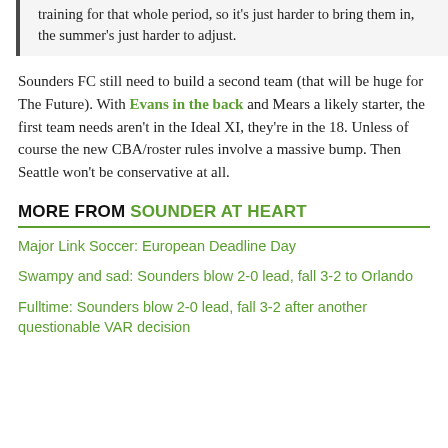training for that whole period, so it's just harder to bring them in, the summer's just harder to adjust.
Sounders FC still need to build a second team (that will be huge for The Future). With Evans in the back and Mears a likely starter, the first team needs aren't in the Ideal XI, they're in the 18. Unless of course the new CBA/roster rules involve a massive bump. Then Seattle won't be conservative at all.
MORE FROM SOUNDER AT HEART
Major Link Soccer: European Deadline Day
Swampy and sad: Sounders blow 2-0 lead, fall 3-2 to Orlando
Fulltime: Sounders blow 2-0 lead, fall 3-2 after another questionable VAR decision